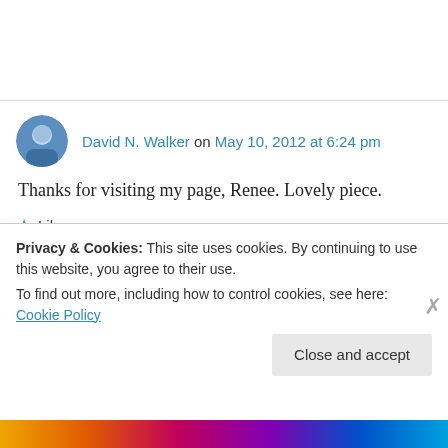David N. Walker on May 10, 2012 at 6:24 pm
Thanks for visiting my page, Renee. Lovely piece.
Like
Karlene on May 10, 2012 at 9:00 pm
Privacy & Cookies: This site uses cookies. By continuing to use this website, you agree to their use. To find out more, including how to control cookies, see here: Cookie Policy
Close and accept